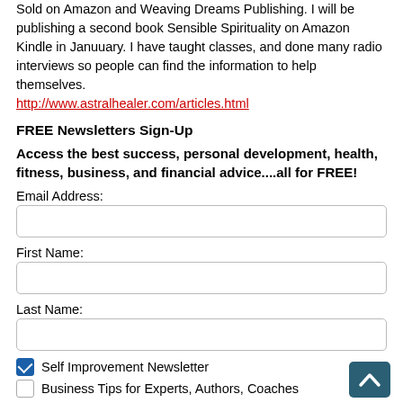Sold on Amazon and Weaving Dreams Publishing. I will be publishing a second book Sensible Spirituality on Amazon Kindle in Januuary. I have taught classes, and done many radio interviews so people can find the information to help themselves. http://www.astralhealer.com/articles.html
FREE Newsletters Sign-Up
Access the best success, personal development, health, fitness, business, and financial advice....all for FREE!
Email Address:
First Name:
Last Name:
Self Improvement Newsletter
Business Tips for Experts, Authors, Coaches
Subscribe
Related Articles